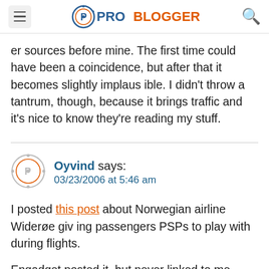ProBlogger
er sources before mine. The first time could have been a coincidence, but after that it becomes slightly implausible. I didn't throw a tantrum, though, because it brings traffic and it's nice to know they're reading my stuff.
Oyvind says: 03/23/2006 at 5:46 am
I posted this post about Norwegian airline Widerøe giving passengers PSPs to play with during flights.
Engadget posted it, but never linked to me. They did th